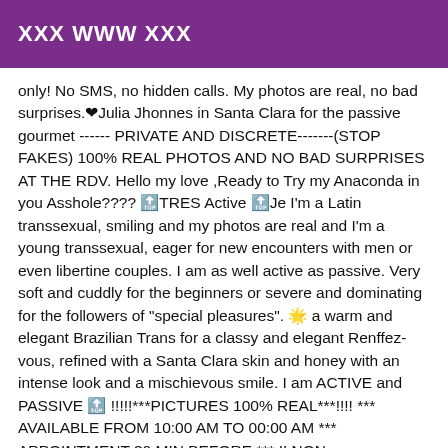XXX WWW XXX
only! No SMS, no hidden calls. My photos are real, no bad surprises.❤Julia Jhonnes in Santa Clara for the passive gourmet ------ PRIVATE AND DISCRETE-------(STOP FAKES) 100% REAL PHOTOS AND NO BAD SURPRISES AT THE RDV. Hello my love ,Ready to Try my Anaconda in you Asshole???? 🔝TRES Active 🔝Je I'm a Latin transsexual, smiling and my photos are real and I'm a young transsexual, eager for new encounters with men or even libertine couples. I am as well active as passive. Very soft and cuddly for the beginners or severe and dominating for the followers of "special pleasures". 🌟 a warm and elegant Brazilian Trans for a classy and elegant Renffez-vous, refined with a Santa Clara skin and honey with an intense look and a mischievous smile. I am ACTIVE and PASSIVE 🔝 !!!!!***PICTURES 100% REAL***!!!! *** AVAILABLE FROM 10:00 AM TO 00:00 AM *** APPOINTMENT 30 MIN BEFORE *** !! NON-NEGOTIABLE PRICE !!